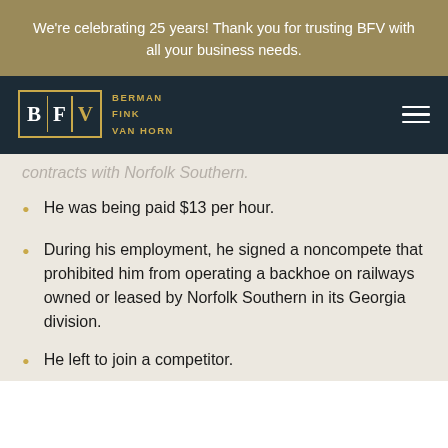We're celebrating 25 years! Thank you for trusting BFV with all your business needs.
[Figure (logo): Berman Fink Van Horn law firm logo with BFV initials in a gold-bordered box and firm name in gold text on dark navy background]
contracts with Norfolk Southern.
He was being paid $13 per hour.
During his employment, he signed a noncompete that prohibited him from operating a backhoe on railways owned or leased by Norfolk Southern in its Georgia division.
He left to join a competitor.